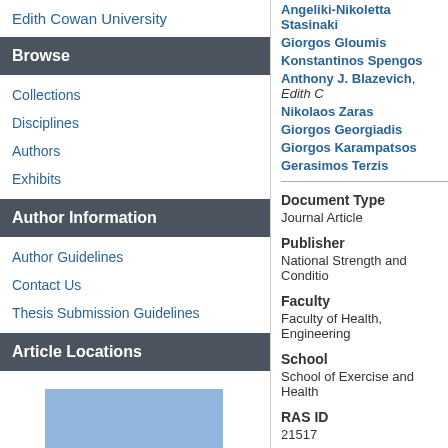Edith Cowan University
Browse
Collections
Disciplines
Authors
Exhibits
Author Information
Author Guidelines
Contact Us
Thesis Submission Guidelines
Article Locations
[Figure (map): Map image placeholder (blue rectangle)]
Angeliki-Nikoletta Stasinaki
Giorgos Gloumis
Konstantinos Spengos
Anthony J. Blazevich, Edith C
Nikolaos Zaras
Giorgos Georgiadis
Giorgos Karampatsos
Gerasimos Terzis
Document Type
Journal Article
Publisher
National Strength and Conditio
Faculty
Faculty of Health, Engineering
School
School of Exercise and Health
RAS ID
21517
Comments
Stasinaki, A. N., Gloumis, G., S